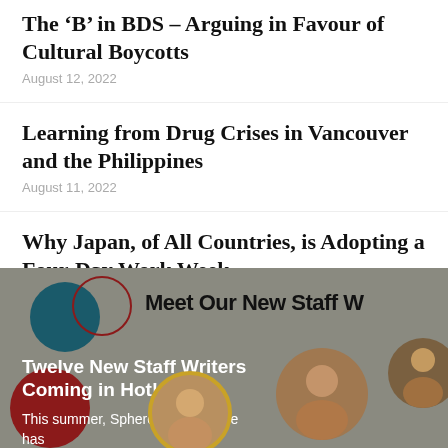The ‘B’ in BDS – Arguing in Favour of Cultural Boycotts
August 12, 2022
Learning from Drug Crises in Vancouver and the Philippines
August 11, 2022
Why Japan, of All Countries, is Adopting a Four-Day Work Week
August 8, 2022
[Figure (photo): Promotional banner for 'Meet Our New Staff Writers' featuring circular photos of staff writers, geometric circle decorations in teal, dark red, and gold, with text 'Twelve New Staff Writers Coming in Hot!' and 'This summer, Spheres of Influence has' on a grey background.]